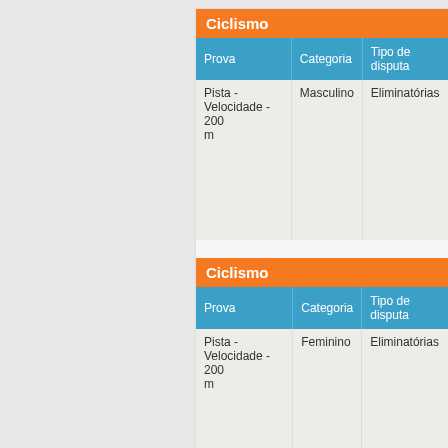Ciclismo
| Prova | Categoria | Tipo de disputa |
| --- | --- | --- |
| Pista - Velocidade - 200 m | Masculino | Eliminatórias |
Ciclismo
| Prova | Categoria | Tipo de disputa |
| --- | --- | --- |
| Pista - Velocidade - 200 m | Feminino | Eliminatórias |